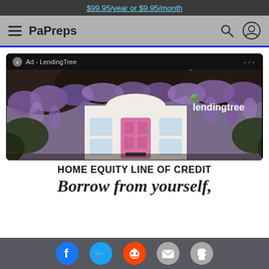$99.95/year or $9.95/month
[Figure (screenshot): PaPreps navigation bar with hamburger menu, site title 'PaPreps', search icon, and user icon on grey background]
[Figure (photo): LendingTree advertisement showing a house with purple wisteria flowers and a pink door, with LendingTree logo in the top right. Ad header reads 'Ad - LendingTree']
HOME EQUITY LINE OF CREDIT
Borrow from yourself,